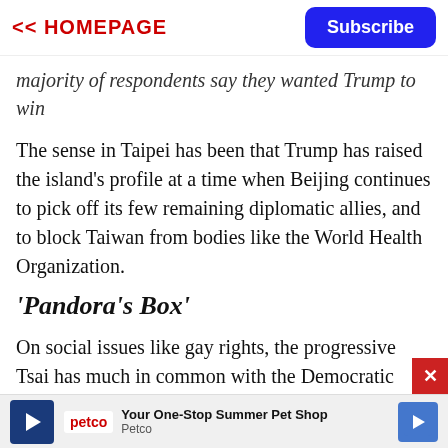<< HOMEPAGE | Subscribe
majority of respondents say they wanted Trump to win
The sense in Taipei has been that Trump has raised the island's profile at a time when Beijing continues to pick off its few remaining diplomatic allies, and to block Taiwan from bodies like the World Health Organization.
'Pandora's Box'
On social issues like gay rights, the progressive Tsai has much in common with the Democratic Party, and she was swift to congratulate Biden on Twitter.
But while the president elect said on the campaign trail
[Figure (other): Petco advertisement banner: 'Your One-Stop Summer Pet Shop - Petco' with Petco logo and navigation arrow icon]